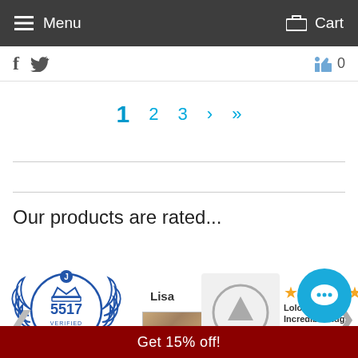Menu   Cart
f  (twitter icon)   (thumbs up) 0
1  2  3  >  >|
Our products are rated...
[Figure (logo): Verified reviews badge with crown and wreath, 5517 VERIFIED REVIEWS]
Lisa
[Figure (photo): Rug product photo, tan/brown texture]
[Figure (other): Up arrow circular button]
★★★★★ Loloi & Incredible Rugs for the Win! I am a huge fan of Loloi rugs... this is my 8th one was looking for a round
Get 15% off!